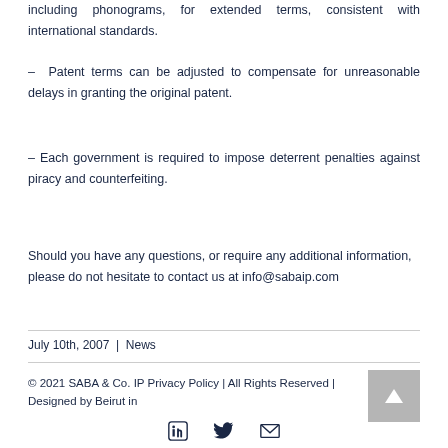including phonograms, for extended terms, consistent with international standards.
– Patent terms can be adjusted to compensate for unreasonable delays in granting the original patent.
– Each government is required to impose deterrent penalties against piracy and counterfeiting.
Should you have any questions, or require any additional information, please do not hesitate to contact us at info@sabaip.com
July 10th, 2007 | News
© 2021 SABA & Co. IP Privacy Policy | All Rights Reserved | Designed by Beirut in